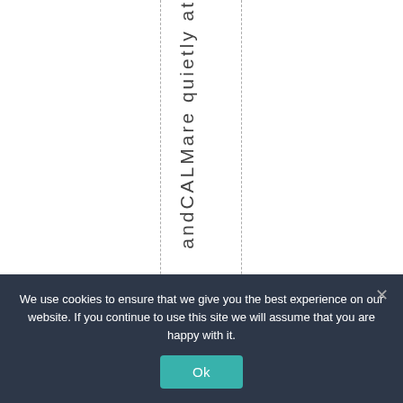andCALMare quietly at
We use cookies to ensure that we give you the best experience on our website. If you continue to use this site we will assume that you are happy with it.